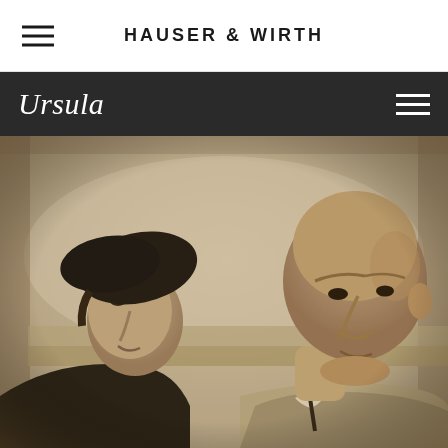HAUSER & WIRTH
Ursula
[Figure (photo): Vintage sepia-toned black and white photograph of two people facing each other in close profile. On the left is a woman wearing a dark beret/cap, smiling. On the right is a man with a shaved head wearing a suit jacket and tie. They appear to be looking at each other affectionately. The background shows an outdoor scene.]